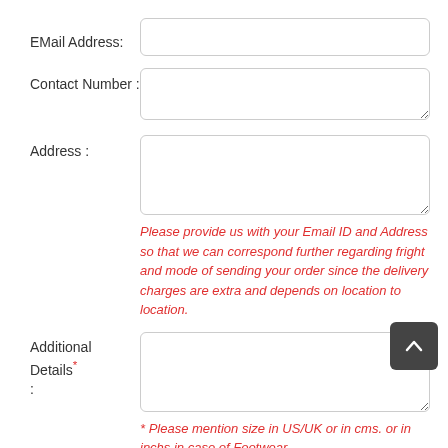EMail Address:
Contact Number :
Address :
Please provide us with your Email ID and Address so that we can correspond further regarding fright and mode of sending your order since the delivery charges are extra and depends on location to location.
Additional Details* :
* Please mention size in US/UK or in cms. or in inchs in case of Footwear.
Payment Mode :
By Cheque / DD
By Credit Card